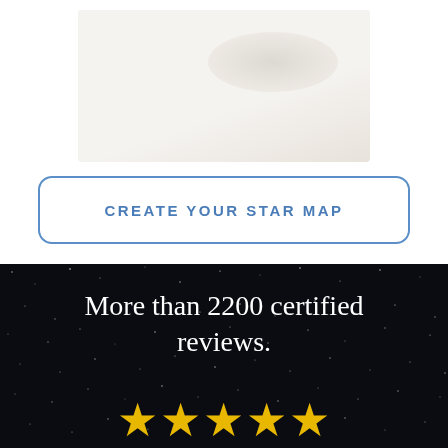[Figure (illustration): Blurred star map preview image with light beige/cream background]
CREATE YOUR STAR MAP
[Figure (photo): Dark night sky background with scattered white star points]
More than 2200 certified reviews.
★★★★★